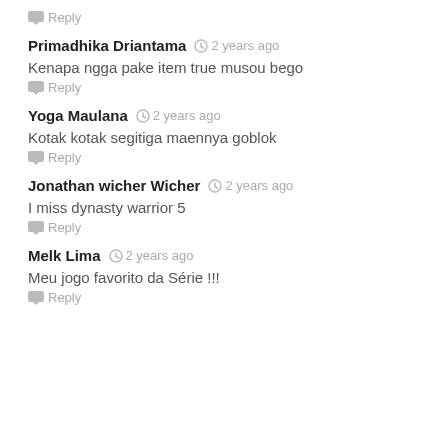Reply
Primadhika Driantama — 2 years ago
Kenapa ngga pake item true musou bego
Reply
Yoga Maulana — 2 years ago
Kotak kotak segitiga maennya goblok
Reply
Jonathan wicher Wicher — 2 years ago
I miss dynasty warrior 5
Reply
Melk Lima — 2 years ago
Meu jogo favorito da Série !!!
Reply